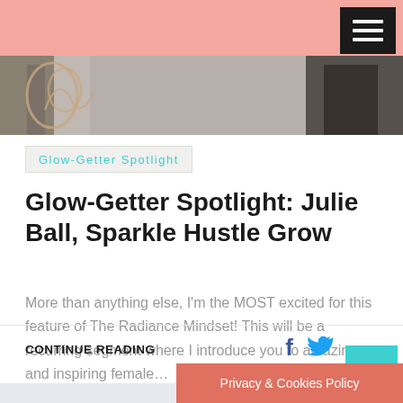[Figure (photo): Hero/banner photo partially visible showing cursive text and a person in background, salmon/pink toned image]
Glow-Getter Spotlight
Glow-Getter Spotlight: Julie Ball, Sparkle Hustle Grow
More than anything else, I’m the MOST excited for this feature of The Radiance Mindset! This will be a recurring segment where I introduce you to amazing and inspiring female…
CONTINUE READING
Privacy & Cookies Policy